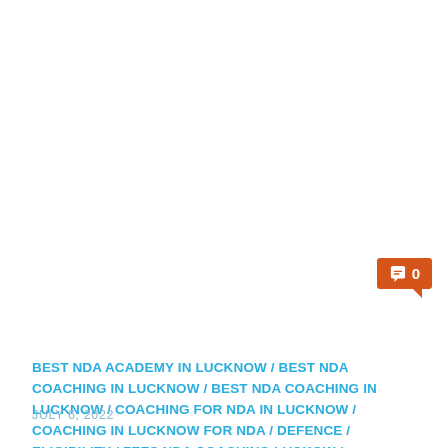[Figure (other): Orange comment badge with speech bubble icon and number 0]
BEST NDA ACADEMY IN LUCKNOW / BEST NDA COACHING IN LUCKNOW / BEST NDA COACHING IN LUCKNOW / COACHING FOR NDA IN LUCKNOW / COACHING IN LUCKNOW FOR NDA / DEFENCE / ELIGIBILITY / FEES NDA COACHING LUCKOW / LUCKNOW COACHING FOR NDA / LUCKNOW NDA COACHING / NDA / NDA 2020 NOTIFICATION / NDA ACADEMY IN LUCKNOW / NDA COACHING / NDA COACHING FEES / NDA COACHING IN LUCKNOW / NDA COACHING LUCKNOW / NDA EXAM PATTERN / NDA EXAM SYLLABUS / NDA NOTIFICATION / NDA STUDY MATERIAL / NDA SYLLABUS / SSB COACHING IN LUCKNOW / TOP 10 NDA COACHING IN LUCKNOW / TOP NDA ACADEMY IN LUCKNOW / TOP NDA COACHING IN LUCKNOW / UNCATEGORIZED
JULY 6, 2022